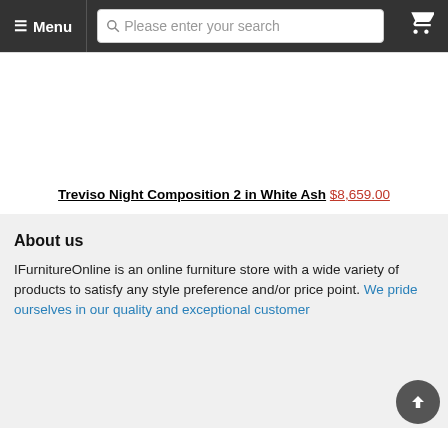☰ Menu  [search bar: Please enter your search]  🛒
[Figure (other): White blank product image placeholder area for Treviso Night Composition 2 in White Ash]
Treviso Night Composition 2 in White Ash $8,659.00
About us
IFurnitureOnline is an online furniture store with a wide variety of products to satisfy any style preference and/or price point. We pride ourselves in our quality and exceptional customer